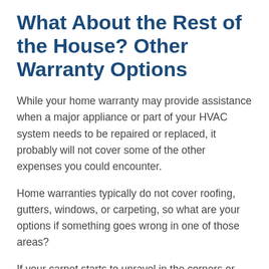What About the Rest of the House? Other Warranty Options
While your home warranty may provide assistance when a major appliance or part of your HVAC system needs to be repaired or replaced, it probably will not cover some of the other expenses you could encounter.
Home warranties typically do not cover roofing, gutters, windows, or carpeting, so what are your options if something goes wrong in one of those areas?
If your carpet starts to unravel in the corners or your new double-pane windows fail, your best bet is to take a deep breath and then investigate the